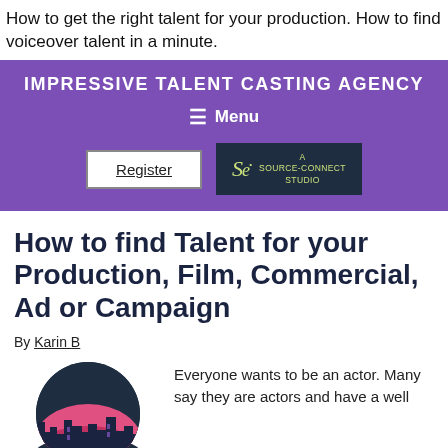How to get the right talent for your production. How to find voiceover talent in a minute.
[Figure (screenshot): Impressive Talent Casting Agency website banner with purple background, site title, hamburger menu, Register button, and Source-Connect Studio button]
How to find Talent for your Production, Film, Commercial, Ad or Campaign
By Karin B
[Figure (illustration): Circular illustration showing a city skyline at night with pink and dark blue tones]
Everyone wants to be an actor. Many say they are actors and have a well...